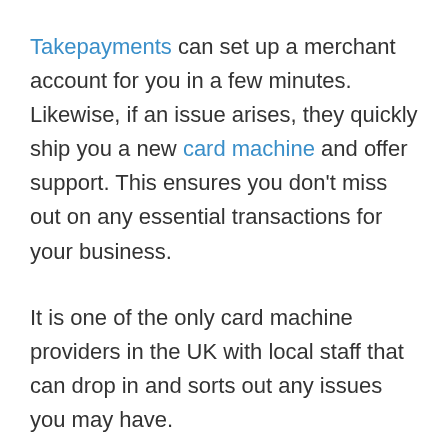Takepayments can set up a merchant account for you in a few minutes. Likewise, if an issue arises, they quickly ship you a new card machine and offer support. This ensures you don't miss out on any essential transactions for your business.
It is one of the only card machine providers in the UK with local staff that can drop in and sorts out any issues you may have.